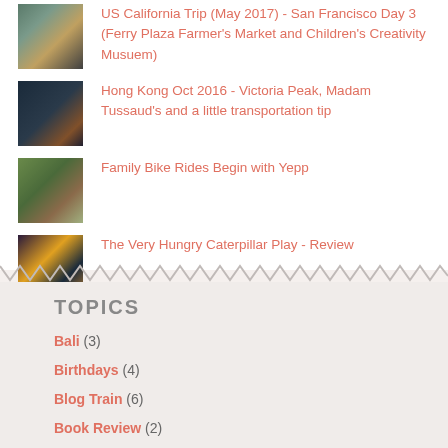US California Trip (May 2017) - San Francisco Day 3 (Ferry Plaza Farmer's Market and Children's Creativity Musuem)
Hong Kong Oct 2016 - Victoria Peak, Madam Tussaud's and a little transportation tip
Family Bike Rides Begin with Yepp
The Very Hungry Caterpillar Play - Review
TOPICS
Bali (3)
Birthdays (4)
Blog Train (6)
Book Review (2)